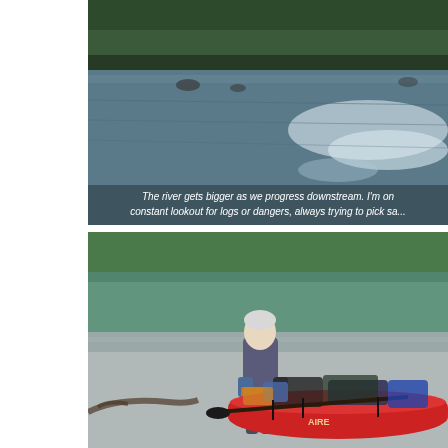[Figure (photo): Wide river scene with forested hillside in background, water surface reflecting light, shot from river level looking downstream.]
The river gets bigger as we progress downstream. I'm on constant lookout for logs or dangers, always trying to pick sa...
[Figure (photo): Person with white/grey hair standing on a gravel riverbank next to a heavily loaded red inflatable packraft/kayak with gear strapped on top.]